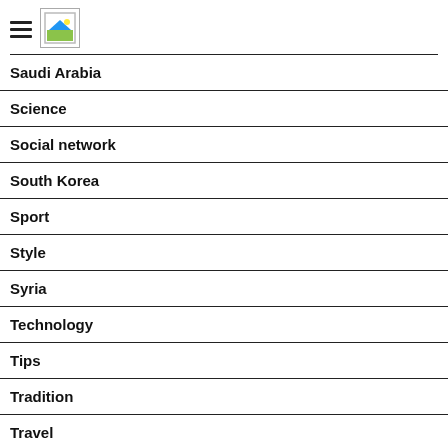[Figure (logo): Hamburger menu icon and small image placeholder icon in page header]
Saudi Arabia
Science
Social network
South Korea
Sport
Style
Syria
Technology
Tips
Tradition
Travel
Tri...